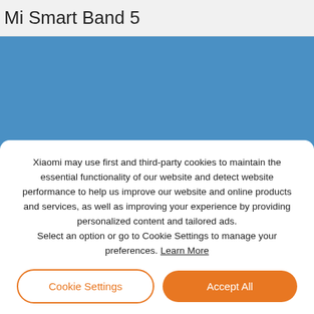Mi Smart Band 5
[Figure (other): Blue banner background area]
Xiaomi may use first and third-party cookies to maintain the essential functionality of our website and detect website performance to help us improve our website and online products and services, as well as improving your experience by providing personalized content and tailored ads. Select an option or go to Cookie Settings to manage your preferences. Learn More
Cookie Settings
Accept All